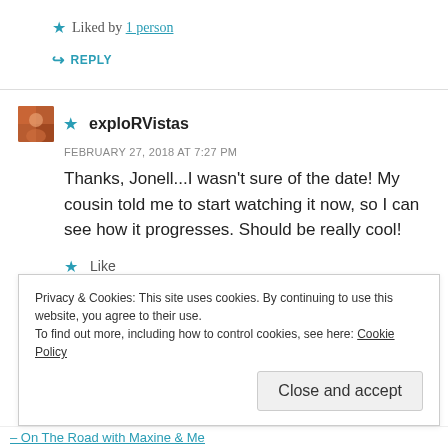★ Liked by 1 person
↪ REPLY
★ exploRVistas
FEBRUARY 27, 2018 AT 7:27 PM
Thanks, Jonell...I wasn't sure of the date! My cousin told me to start watching it now, so I can see how it progresses. Should be really cool!
★ Like
Privacy & Cookies: This site uses cookies. By continuing to use this website, you agree to their use.
To find out more, including how to control cookies, see here: Cookie Policy
Close and accept
– On The Road with Maxine & Me